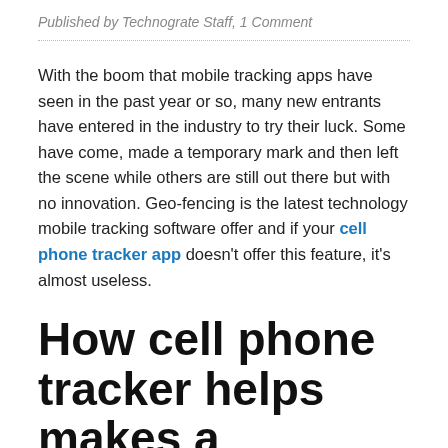Published by Technograte Staff, 1 Comment
With the boom that mobile tracking apps have seen in the past year or so, many new entrants have entered in the industry to try their luck. Some have come, made a temporary mark and then left the scene while others are still out there but with no innovation. Geo-fencing is the latest technology mobile tracking software offer and if your cell phone tracker app doesn't offer this feature, it's almost useless.
How cell phone tracker helps makes a difference?